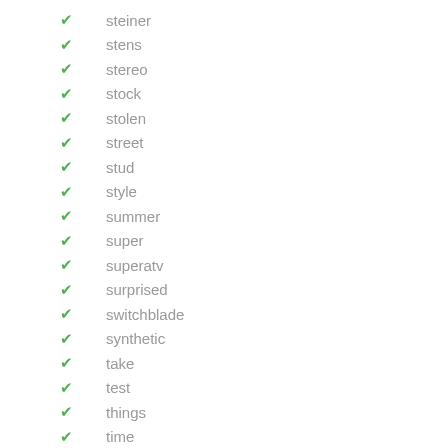steiner
stens
stereo
stock
stolen
street
stud
style
summer
super
superatv
surprised
switchblade
synthetic
take
test
things
time